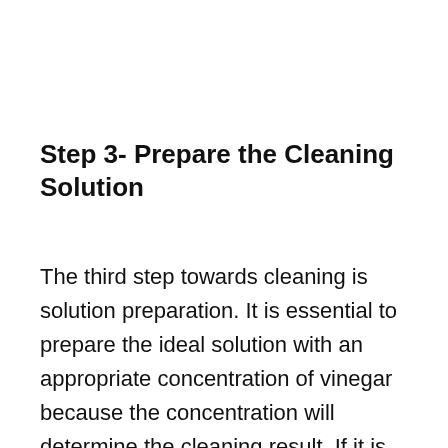Step 3- Prepare the Cleaning Solution
The third step towards cleaning is solution preparation. It is essential to prepare the ideal solution with an appropriate concentration of vinegar because the concentration will determine the cleaning result. If it is